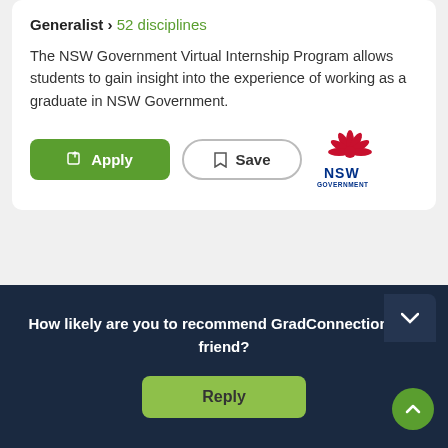Generalist › 52 disciplines
The NSW Government Virtual Internship Program allows students to gain insight into the experience of working as a graduate in NSW Government.
[Figure (logo): NSW Government logo — red waratah flower above dark blue NSW GOVERNMENT text]
NSW Government Virtual Internship Program
NSW G[overnment]
Intern[ship Type]
Gene[ralist]
How likely are you to recommend GradConnection to a friend?